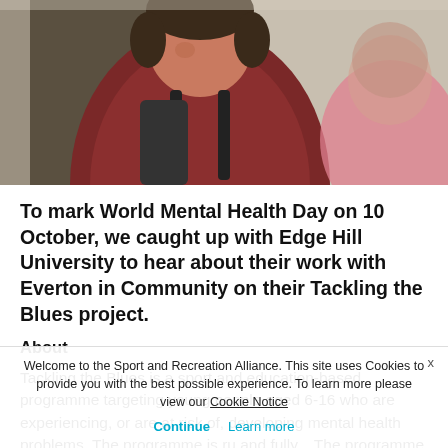[Figure (photo): Photo of a young male student wearing a dark red t-shirt and backpack, facing another partially visible person with a pink top, indoor setting]
To mark World Mental Health Day on 10 October, we caught up with Edge Hill University to hear about their work with Everton in Community on their Tackling the Blues project.
About
Tackling the Blues is a sport and education-based programme targeting young people aged 6-16 who are experiencing, or are at risk of, developing mental health problems. The programme is ru... and fu... The programme is co-designed and developed with young people, student mentors and education workers who act as project collaborators, help carry out
Welcome to the Sport and Recreation Alliance. This site uses Cookies to provide you with the best possible experience. To learn more please view our Cookie Notice